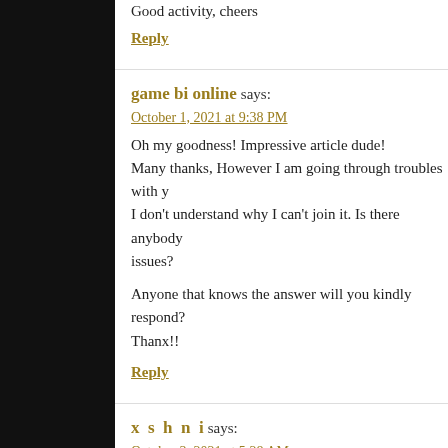the articles is in reality excellent ! :D
Good activity, cheers
Reply
game bi online says:
October 1, 2021 at 9:38 PM
Oh my goodness! Impressive article dude! Many thanks, However I am going through troubles with y I don't understand why I can't join it. Is there anybody issues?
Anyone that knows the answer will you kindly respond? Thanx!!
Reply
x s h n i says:
October 3, 2021 at 5:28 AM